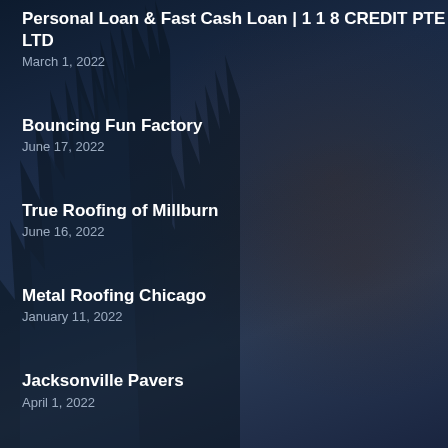Personal Loan & Fast Cash Loan | 1 1 8 CREDIT PTE LTD
March 1, 2022
Bouncing Fun Factory
June 17, 2022
True Roofing of Millburn
June 16, 2022
Metal Roofing Chicago
January 11, 2022
Jacksonville Pavers
April 1, 2022